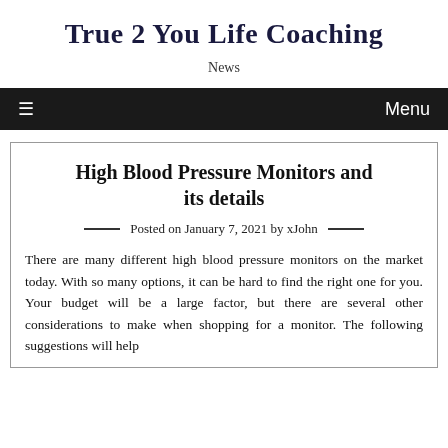True 2 You Life Coaching
News
≡  Menu
High Blood Pressure Monitors and its details
Posted on January 7, 2021 by xJohn
There are many different high blood pressure monitors on the market today. With so many options, it can be hard to find the right one for you. Your budget will be a large factor, but there are several other considerations to make when shopping for a monitor. The following suggestions will help